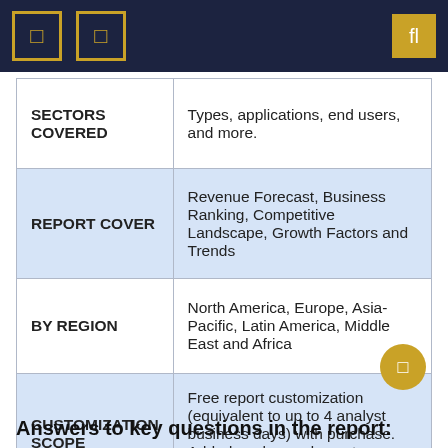|  |  |
| --- | --- |
| SECTORS COVERED | Types, applications, end users, and more. |
| REPORT COVER | Revenue Forecast, Business Ranking, Competitive Landscape, Growth Factors and Trends |
| BY REGION | North America, Europe, Asia-Pacific, Latin America, Middle East and Africa |
| CUSTOMIZATION SCOPE | Free report customization (equivalent to up to 4 analyst business days) with purchase. Added or changed country, region and segment scope. |
Answers to key questions in the report: